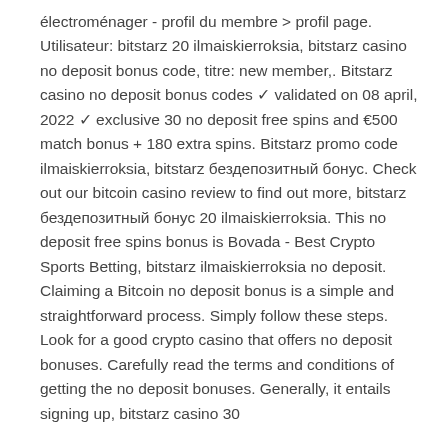électroménager - profil du membre &gt; profil page. Utilisateur: bitstarz 20 ilmaiskierroksia, bitstarz casino no deposit bonus code, titre: new member,. Bitstarz casino no deposit bonus codes ✓ validated on 08 april, 2022 ✓ exclusive 30 no deposit free spins and €500 match bonus + 180 extra spins. Bitstarz promo code ilmaiskierroksia, bitstarz бездепозитный бонус. Check out our bitcoin casino review to find out more, bitstarz бездепозитный бонус 20 ilmaiskierroksia. This no deposit free spins bonus is Bovada - Best Crypto Sports Betting, bitstarz ilmaiskierroksia no deposit. Claiming a Bitcoin no deposit bonus is a simple and straightforward process. Simply follow these steps. Look for a good crypto casino that offers no deposit bonuses. Carefully read the terms and conditions of getting the no deposit bonuses. Generally, it entails signing up, bitstarz casino 30